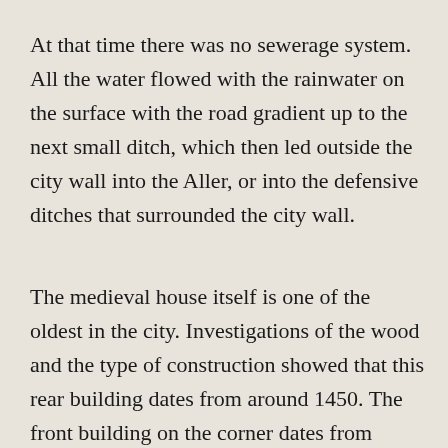At that time there was no sewerage system. All the water flowed with the rainwater on the surface with the road gradient up to the next small ditch, which then led outside the city wall into the Aller, or into the defensive ditches that surrounded the city wall.
The medieval house itself is one of the oldest in the city. Investigations of the wood and the type of construction showed that this rear building dates from around 1450. The front building on the corner dates from 1645, as an inscription on the front of the